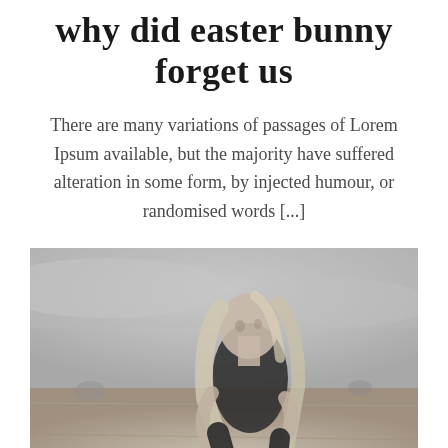why did easter bunny forget us
There are many variations of passages of Lorem Ipsum available, but the majority have suffered alteration in some form, by injected humour, or randomised words [...]
[Figure (photo): Black and white photograph of a young woman with long blonde hair wearing an off-shoulder black top, standing in an open field or flatland landscape with an overcast sky.]